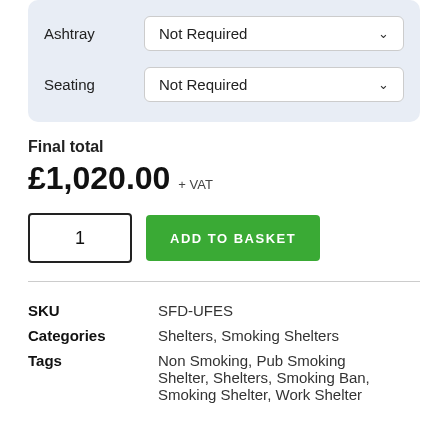| Field | Value |
| --- | --- |
| Ashtray | Not Required |
| Seating | Not Required |
Final total
£1,020.00 + VAT
1  ADD TO BASKET
| Key | Value |
| --- | --- |
| SKU | SFD-UFES |
| Categories | Shelters, Smoking Shelters |
| Tags | Non Smoking, Pub Smoking Shelter, Shelters, Smoking Ban, Smoking Shelter, Work Shelter |